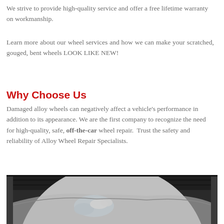We strive to provide high-quality service and offer a free lifetime warranty on workmanship.
Learn more about our wheel services and how we can make your scratched, gouged, bent wheels LOOK LIKE NEW!
Why Choose Us
Damaged alloy wheels can negatively affect a vehicle's performance in addition to its appearance. We are the first company to recognize the need for high-quality, safe, off-the-car wheel repair.  Trust the safety and reliability of Alloy Wheel Repair Specialists.
[Figure (photo): Close-up photo of an alloy wheel being repaired, showing the wheel rim and tire with a gloved hand holding a repair tool]